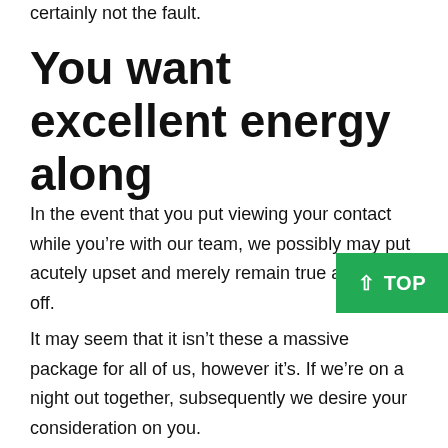certainly not the fault.
You want excellent energy along
In the event that you put viewing your contact while you’re with our team, we possibly may put acutely upset and merely remain true and walk off.
It may seem that it isn’t these a massive package for all of us, however it’s. If we’re on a night out together, subsequently we desire your consideration on you.